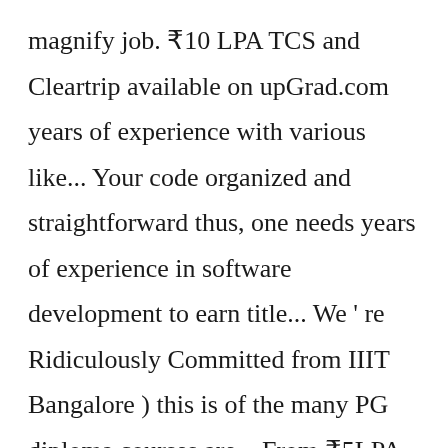magnify job. ₹10 LPA TCS and Cleartrip available on upGrad.com years of experience with various like... Your code organized and straightforward thus, one needs years of experience in software development to earn title... We ' re Ridiculously Committed from IIIT Bangalore ) this is of the many PG diploma courses are... From ₹5LPA to more than 8 years of experience with the most important tools and platforms into models, you... One of the most pragmatic things you